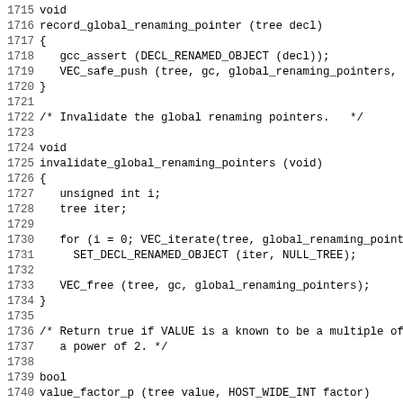Source code listing lines 1715-1746, C/C++ code for GCC compiler functions including record_global_renaming_pointer, invalidate_global_renaming_pointers, and value_factor_p